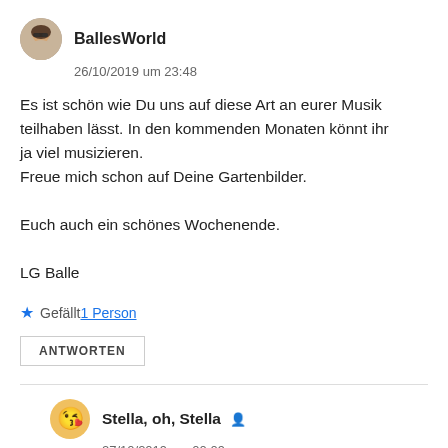[Figure (illustration): Round avatar photo of user BallesWorld showing a person with sunglasses]
BallesWorld
26/10/2019 um 23:48
Es ist schön wie Du uns auf diese Art an eurer Musik teilhaben lässt. In den kommenden Monaten könnt ihr ja viel musizieren.
Freue mich schon auf Deine Gartenbilder.

Euch auch ein schönes Wochenende.

LG Balle
★ Gefällt 1 Person
ANTWORTEN
[Figure (illustration): Round avatar emoji face for user Stella, oh, Stella]
Stella, oh, Stella
27/10/2019 um 00:09